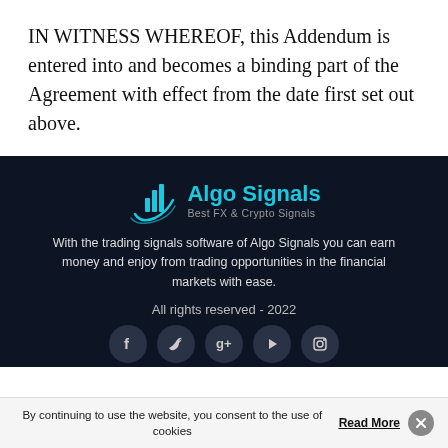IN WITNESS WHEREOF, this Addendum is entered into and becomes a binding part of the Agreement with effect from the date first set out above.
[Figure (logo): Algo Signals logo with teal bar chart and swoosh icon, text 'Algo Signals' in teal and subtitle 'Best FX & Crypto Signals' in gray]
With the trading signals software of Algo Signals you can earn money and enjoy from trading opportunities in the financial markets with ease.
All rights reserved - 2022
[Figure (infographic): Row of five social media icons in dark circular buttons: Facebook, Twitter, Google+, YouTube, Instagram]
By continuing to use the website, you consent to the use of cookies